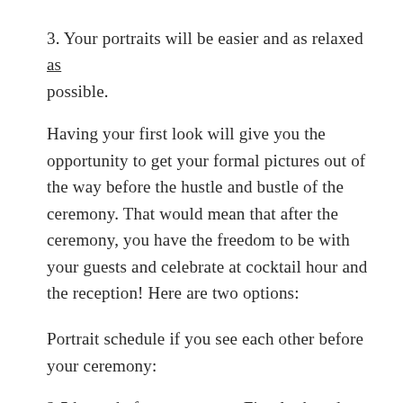3. Your portraits will be easier and as relaxed as possible.
Having your first look will give you the opportunity to get your formal pictures out of the way before the hustle and bustle of the ceremony. That would mean that after the ceremony, you have the freedom to be with your guests and celebrate at cocktail hour and the reception! Here are two options:
Portrait schedule if you see each other before your ceremony:
2.5 hours before ceremony: First look and Bride